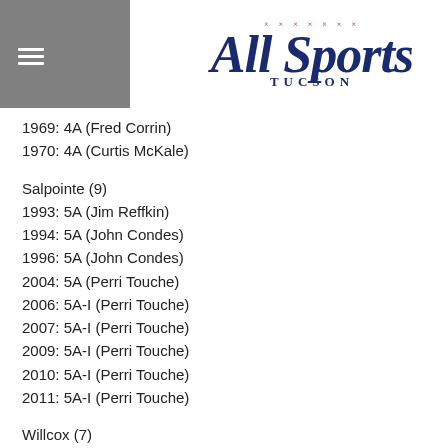All Sports Tucson
1969: 4A (Fred Corrin)
1970: 4A (Curtis McKale)
Salpointe (9)
1993: 5A (Jim Reffkin)
1994: 5A (John Condes)
1996: 5A (John Condes)
2004: 5A (Perri Touche)
2006: 5A-I (Perri Touche)
2007: 5A-I (Perri Touche)
2009: 5A-I (Perri Touche)
2010: 5A-I (Perri Touche)
2011: 5A-I (Perri Touche)
Willcox (7)
1936: 3A (Dorothy Sawyer)